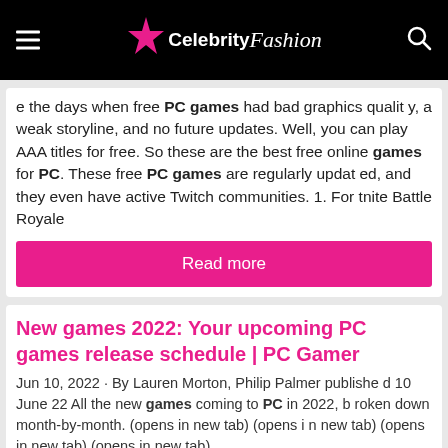Celebrity Fashion
e the days when free PC games had bad graphics quality, a weak storyline, and no future updates. Well, you can play AAA titles for free. So these are the best free online games for PC. These free PC games are regularly updated, and they even have active Twitch communities. 1. Fortnite Battle Royale
Read more
New games 2022: Your upcoming PC games release schedule | PC Gamer
Jun 10, 2022 · By Lauren Morton, Philip Palmer published 10 June 22 All the new games coming to PC in 2022, broken down month-by-month. (opens in new tab) (opens in new tab) (opens in new tab) (opens in new tab)